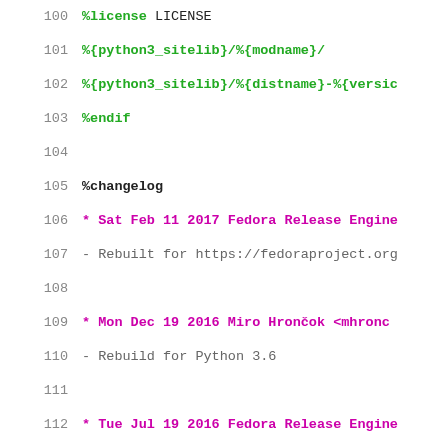[Figure (screenshot): Code editor view showing lines 100-123 of an RPM spec file, displaying %license, %files, %changelog entries with dates and contributors in green and magenta monospace text on white background.]